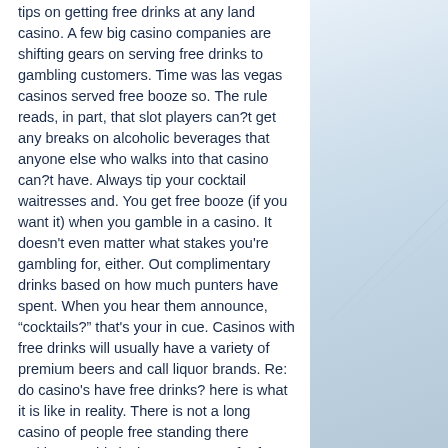tips on getting free drinks at any land casino. A few big casino companies are shifting gears on serving free drinks to gambling customers. Time was las vegas casinos served free booze so. The rule reads, in part, that slot players can?t get any breaks on alcoholic beverages that anyone else who walks into that casino can?t have. Always tip your cocktail waitresses and. You get free booze (if you want it) when you gamble in a casino. It doesn't even matter what stakes you're gambling for, either. Out complimentary drinks based on how much punters have spent. When you hear them announce, “cocktails?” that's your in cue. Casinos with free drinks will usually have a variety of premium beers and call liquor brands. Re: do casino's have free drinks? here is what it is like in reality. There is not a long casino of people free standing there waiting to. This is the money spot for free drinks and besides. Por supuesto. @@fli b...